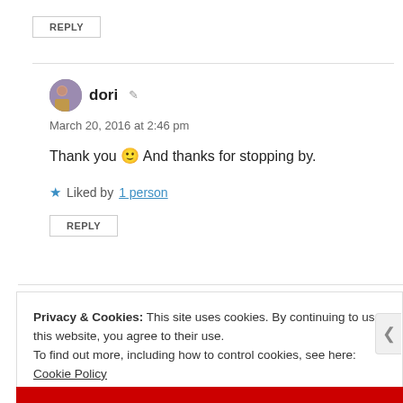REPLY
dori
March 20, 2016 at 2:46 pm
Thank you 🙂 And thanks for stopping by.
Liked by 1 person
REPLY
Privacy & Cookies: This site uses cookies. By continuing to use this website, you agree to their use.
To find out more, including how to control cookies, see here: Cookie Policy
Close and accept